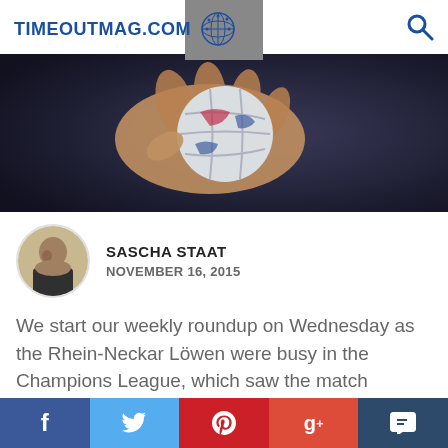TIMEOUTMAG.COM
[Figure (photo): Close-up photo of a hand gripping a handball, dark background]
SASCHA STAAT
NOVEMBER 16, 2015
We start our weekly roundup on Wednesday as the Rhein-Neckar Löwen were busy in the Champions League, which saw the match against Leipzig rescheduled to mid-week. The league leaders were without starting goalkeeper Mikael Appelgren, but